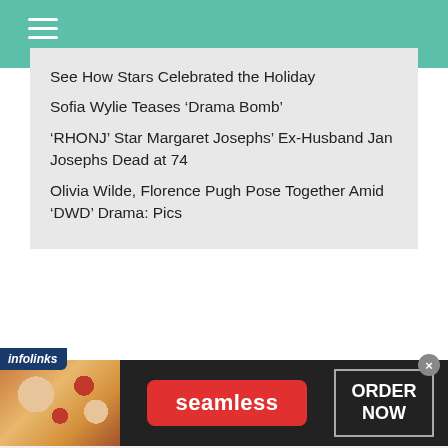See How Stars Celebrated the Holiday
Sofia Wylie Teases ‘Drama Bomb’
‘RHONJ’ Star Margaret Josephs’ Ex-Husband Jan Josephs Dead at 74
Olivia Wilde, Florence Pugh Pose Together Amid ‘DWD’ Drama: Pics
[Figure (screenshot): Seamless food delivery advertisement banner with pizza image on the left, red Seamless logo in center, and ORDER NOW button on the right. infolinks label at top-left, close button at top-right.]